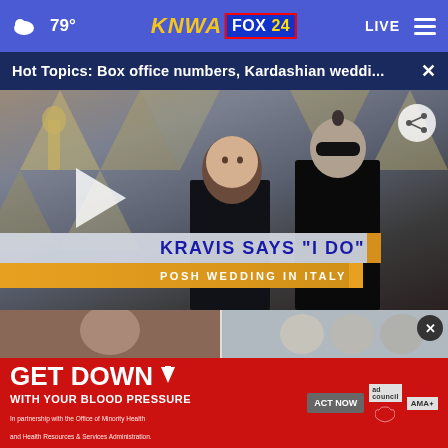79° KNWA FOX24 LIVE
Hot Topics: Box office numbers, Kardashian weddi... ×
[Figure (screenshot): Video thumbnail showing Kourtney Kardashian and Travis Barker at what appears to be the Oscars red carpet with play button overlay and lower-third chyron reading KRAVIS SAYS I DO / POSH WEDDING IN ITALY]
[Figure (photo): Two small thumbnail images below the main video]
GET DOWN ↓ WITH YOUR BLOOD PRESSURE In partnership with the Office of Minority Health and Health Resources & Services Administration. ACT NOW